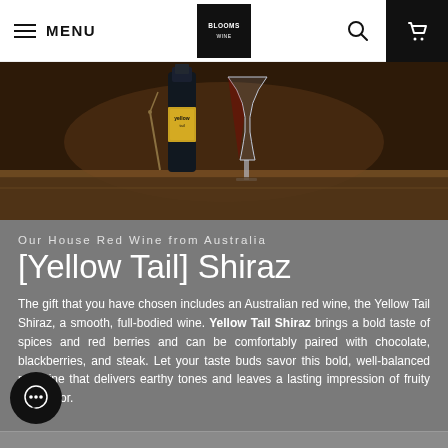MENU | BLOOMS LOGO | Search | Cart
[Figure (photo): Dark background photo showing a bottle of Yellow Tail wine, a wine glass with red wine, and a corkscrew on a wooden surface]
Our House Red Wine from Australia
[Yellow Tail] Shiraz
The gift that you have chosen includes an Australian red wine, the Yellow Tail Shiraz, a smooth, full-bodied wine. Yellow Tail Shiraz brings a bold taste of spices and red berries and can be comfortably paired with chocolate, blackberries, and steak. Let your taste buds savor this bold, well-balanced red wine that delivers earthy tones and leaves a lasting impression of fruity and flavor.